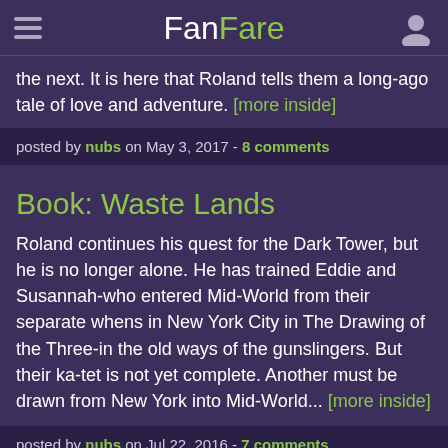FanFare
the next. It is here that Roland tells them a long-ago tale of love and adventure. [more inside]
posted by nubs on May 3, 2017 - 8 comments
Book: Waste Lands
Roland continues his quest for the Dark Tower, but he is no longer alone. He has trained Eddie and Susannah-who entered Mid-World from their separate whens in New York City in The Drawing of the Three-in the old ways of the gunslingers. But their ka-tet is not yet complete. Another must be drawn from New York into Mid-World... [more inside]
posted by nubs on Jul 22, 2016 - 7 comments